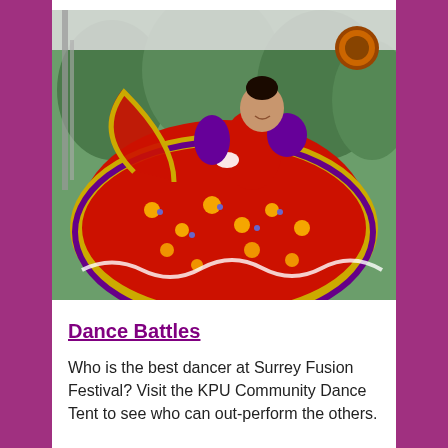[Figure (photo): A folk dancer in a vibrant red and yellow floral skirt with purple trim, spinning and holding the skirt wide, wearing a red top, performing outdoors at a festival with green trees in the background.]
Dance Battles
Who is the best dancer at Surrey Fusion Festival? Visit the KPU Community Dance Tent to see who can out-perform the others.